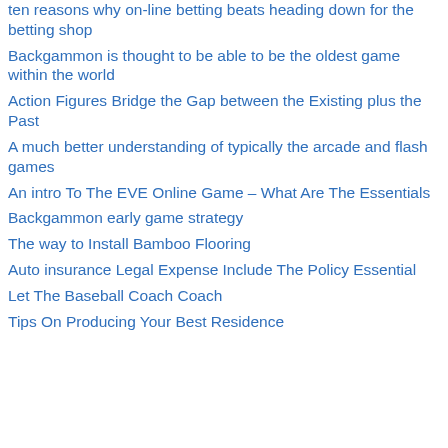ten reasons why on-line betting beats heading down for the betting shop
Backgammon is thought to be able to be the oldest game within the world
Action Figures Bridge the Gap between the Existing plus the Past
A much better understanding of typically the arcade and flash games
An intro To The EVE Online Game – What Are The Essentials
Backgammon early game strategy
The way to Install Bamboo Flooring
Auto insurance Legal Expense Include The Policy Essential
Let The Baseball Coach Coach
Tips On Producing Your Best Residence